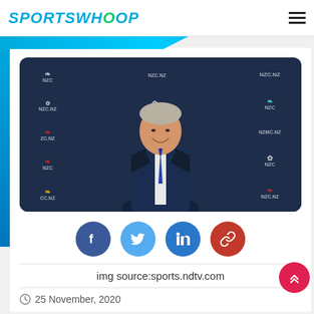SPORTSWHOOP
[Figure (photo): Man in dark suit smiling in front of NZC (New Zealand Cricket) branded backdrop with NZC.NZ logos and fern symbols in white, teal, red, and yellow]
[Figure (infographic): Social share buttons: Facebook (dark blue), Twitter (light blue), LinkedIn (blue), Link/copy (red)]
img source:sports.ndtv.com
25 November, 2020